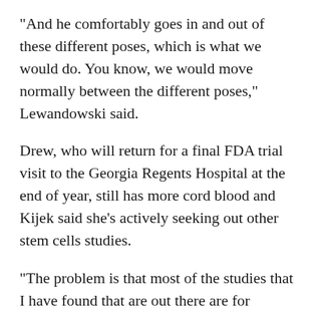"And he comfortably goes in and out of these different poses, which is what we would do. You know, we would move normally between the different poses," Lewandowski said.
Drew, who will return for a final FDA trial visit to the Georgia Regents Hospital at the end of year, still has more cord blood and Kijek said she's actively seeking out other stem cells studies.
"The problem is that most of the studies that I have found that are out there are for younger children, not children that are past the age of two or six or whatever. The closer the time to the incident or the damage, the better, really, for studies sake. But we're seeing that, I mean even after, he was 11 when he got